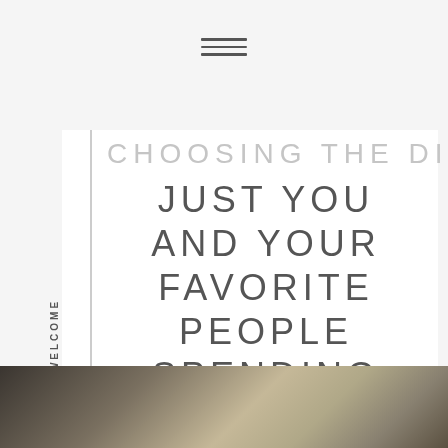[Figure (other): Hamburger/menu icon with three horizontal lines]
CHOOSING THE DINNER
JUST YOU AND YOUR FAVORITE PEOPLE SPENDING TIME TOGETHER.
WELCOME
[Figure (photo): Blurred background photo showing a table setting with warm tones of beige, tan, and dark edges]